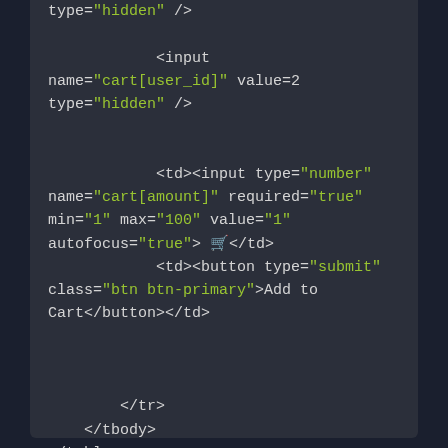[Figure (screenshot): Code editor screenshot showing HTML form input elements with dark background. Code includes input elements for cart[user_id] and cart[amount], and a button element for Add to Cart, followed by closing tr, tbody, and table tags.]